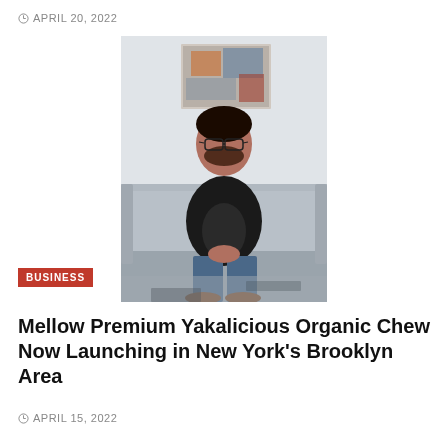APRIL 20, 2022
[Figure (photo): A man wearing glasses, a dark blazer, and jeans sits on a grey couch in front of an abstract painting on the wall.]
BUSINESS
Mellow Premium Yakalicious Organic Chew Now Launching in New York's Brooklyn Area
APRIL 15, 2022